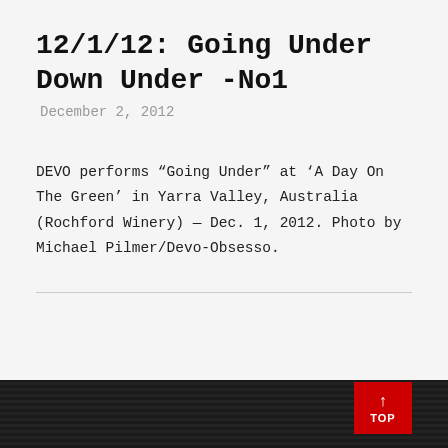12/1/12: Going Under Down Under -No1
December 2, 2012
DEVO performs “Going Under” at ‘A Day On The Green’ in Yarra Valley, Australia (Rochford Winery) — Dec. 1, 2012. Photo by Michael Pilmer/Devo-Obsesso.
[Figure (photo): Dark image with horizontal stripes visible at bottom of page, partially cropped. Red 'TOP' button overlay with upward arrow in lower right.]